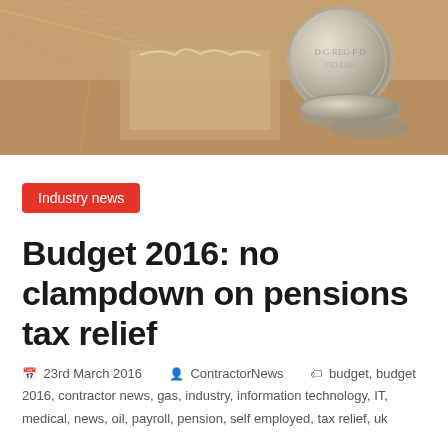[Figure (photo): Close-up photo of old coins and straw/hay on a wooden or cardboard surface, suggesting money/savings theme]
Industry news
Budget 2016: no clampdown on pensions tax relief
23rd March 2016  ContractorNews  budget, budget 2016, contractor news, gas, industry, information technology, IT, medical, news, oil, payroll, pension, self employed, tax relief, uk
As the end of the tax year approaches, most contractors can breathe a sigh of relief. George